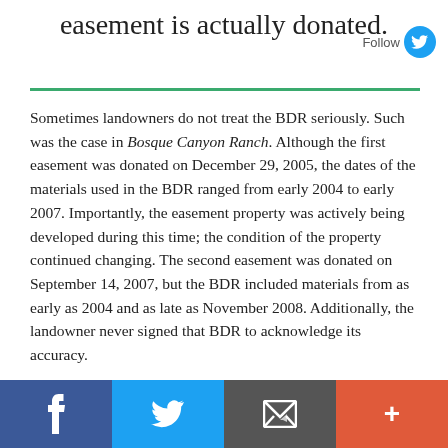easement is actually donated.
Sometimes landowners do not treat the BDR seriously. Such was the case in Bosque Canyon Ranch. Although the first easement was donated on December 29, 2005, the dates of the materials used in the BDR ranged from early 2004 to early 2007. Importantly, the easement property was actively being developed during this time; the condition of the property continued changing. The second easement was donated on September 14, 2007, but the BDR included materials from as early as 2004 and as late as November 2008. Additionally, the landowner never signed that BDR to acknowledge its accuracy.
Facebook | Twitter | Email | More